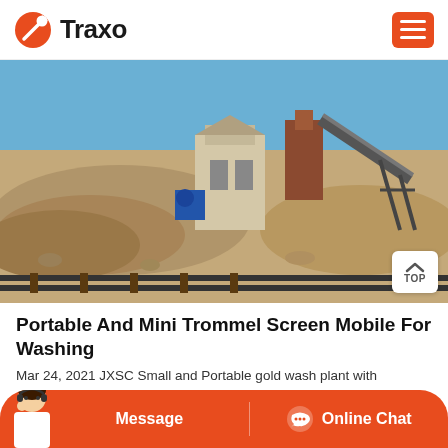Traxo
[Figure (photo): Outdoor mining site with piles of crushed rock/gravel, industrial buildings, conveyor belts, and heavy machinery under a blue sky.]
Portable And Mini Trommel Screen Mobile For Washing
Mar 24, 2021 JXSC Small and Portable gold wash plant with